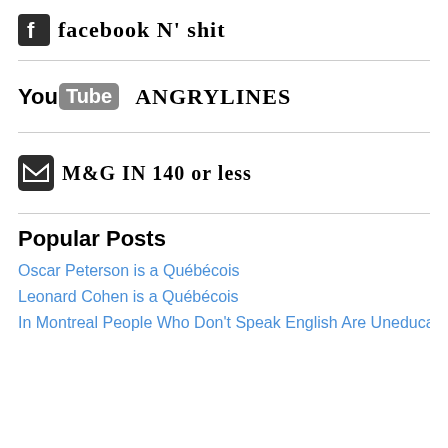[Figure (logo): Facebook logo icon (dark square with 'f') followed by hand-drawn graffiti text 'facebook n' shit']
[Figure (logo): YouTube logo ('You' in black, 'Tube' in white on dark rounded rectangle) followed by hand-drawn graffiti text 'ANGRYLINES']
[Figure (logo): Twitter bird icon (dark square envelope/bird) followed by hand-drawn graffiti text 'M&G IN 140 or less']
Popular Posts
Oscar Peterson is a Québécois
Leonard Cohen is a Québécois
In Montreal People Who Don't Speak English Are Uneducated Bigots